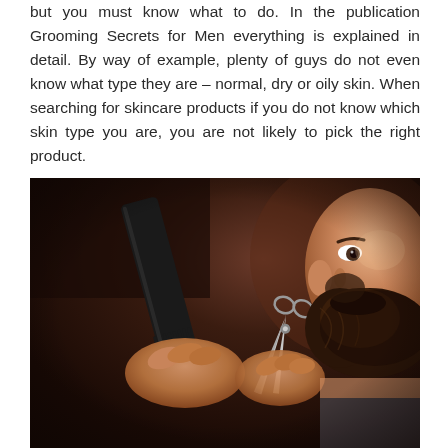but you must know what to do. In the publication Grooming Secrets for Men everything is explained in detail. By way of example, plenty of guys do not even know what type they are – normal, dry or oily skin. When searching for skincare products if you do not know which skin type you are, you are not likely to pick the right product.
[Figure (photo): Close-up photo of a barber trimming a bearded man's beard with scissors while holding a black comb. The bearded man is looking slightly off to the side. Dark background with warm lighting.]